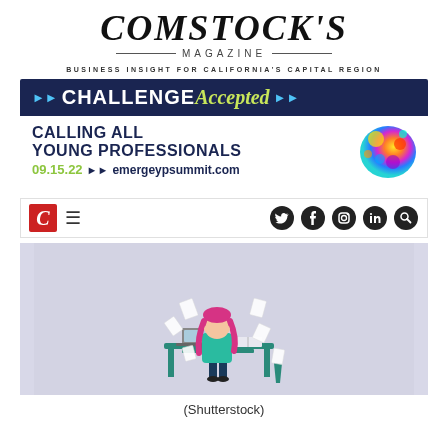COMSTOCK'S MAGAZINE
BUSINESS INSIGHT FOR CALIFORNIA'S CAPITAL REGION
[Figure (illustration): Comstock's Magazine advertisement banner: 'CHALLENGE Accepted' in navy and lime green on dark navy background, 'CALLING ALL YOUNG PROFESSIONALS' in dark navy, '09.15.22 >> emergeypsummit.com' in green and navy, with a colorful paint splash graphic on right]
[Figure (screenshot): Comstock's Magazine website navigation bar with red C logo, hamburger menu, and social media icons for Twitter, Facebook, Instagram, LinkedIn, and Search]
[Figure (illustration): Illustration of a stressed woman with pink/magenta hair sitting at a teal desk with a laptop, papers flying around her, on a light purple/lavender background]
(Shutterstock)